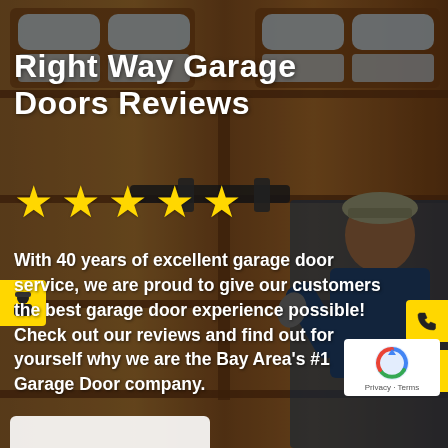[Figure (photo): Background photo of a wooden garage door with a smiling technician in work uniform giving thumbs up]
Right Way Garage Doors Reviews
[Figure (infographic): Five yellow star rating icons]
With 40 years of excellent garage door service, we are proud to give our customers the best garage door experience possible! Check out our reviews and find out for yourself why we are the Bay Area's #1 Garage Door company.
[Figure (logo): reCAPTCHA badge with Privacy and Terms text]